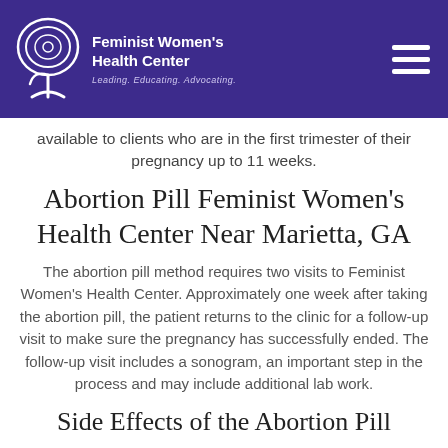Feminist Women's Health Center — Leading. Educating. Advocating.
available to clients who are in the first trimester of their pregnancy up to 11 weeks.
Abortion Pill Feminist Women's Health Center Near Marietta, GA
The abortion pill method requires two visits to Feminist Women's Health Center. Approximately one week after taking the abortion pill, the patient returns to the clinic for a follow-up visit to make sure the pregnancy has successfully ended. The follow-up visit includes a sonogram, an important step in the process and may include additional lab work.
Side Effects of the Abortion Pill